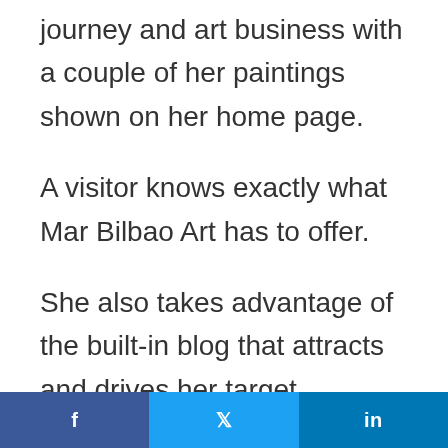journey and art business with a couple of her paintings shown on her home page.
A visitor knows exactly what Mar Bilbao Art has to offer.
She also takes advantage of the built-in blog that attracts and drives her target audience to her site and social share
f  🐦  in